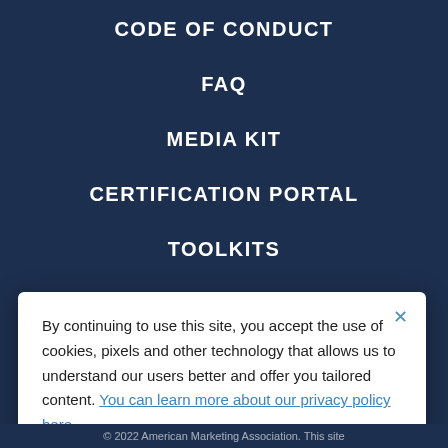CODE OF CONDUCT
FAQ
MEDIA KIT
CERTIFICATION PORTAL
TOOLKITS
By continuing to use this site, you accept the use of cookies, pixels and other technology that allows us to understand our users better and offer you tailored content. You can learn more about our privacy policy here
GOT IT
© 2022 American Marketing Association. This site